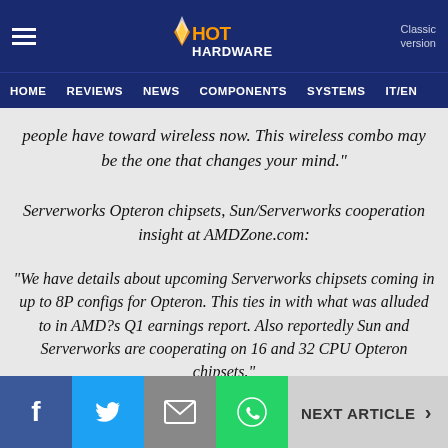HotHardware — Classic version | HOME | REVIEWS | NEWS | COMPONENTS | SYSTEMS | IT/EN
people have toward wireless now. This wireless combo may be the one that changes your mind."
Serverworks Opteron chipsets, Sun/Serverworks cooperation insight at AMDZone.com:
"We have details about upcoming Serverworks chipsets coming in up to 8P configs for Opteron. This ties in with what was alluded to in AMD?s Q1 earnings report. Also reportedly Sun and Serverworks are cooperating on 16 and 32 CPU Opteron chipsets."
NEXT ARTICLE